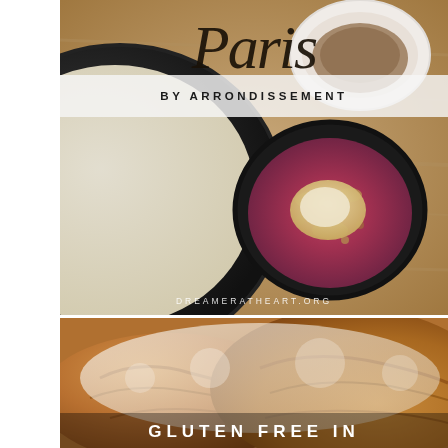[Figure (photo): Top-down view of food bowls and plates on a wooden table — a large dark pan with cream, a white bowl with brown powder, a bowl of red berry granola with a cream/nut topping, on a wooden surface. Script text 'Paris' overlaid at top, 'BY ARRONDISSEMENT' in a semi-transparent band, and watermark 'DREAMERATHEART.ORG' at bottom of image.]
[Figure (photo): Close-up of artisan rustic bread loaves dusted with flour, golden-brown crust. Text 'GLUTEN FREE IN' overlaid at the bottom in white bold uppercase letters.]